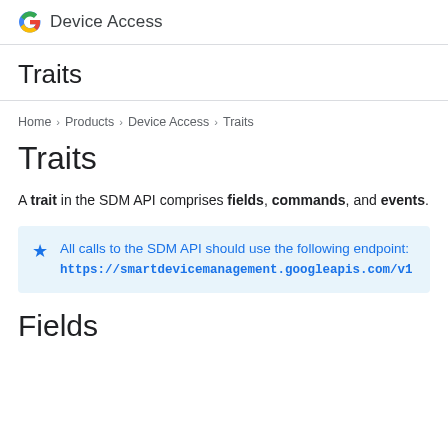Device Access
Traits
Home > Products > Device Access > Traits
Traits
A trait in the SDM API comprises fields, commands, and events.
All calls to the SDM API should use the following endpoint:
https://smartdevicemanagement.googleapis.com/v1
Fields